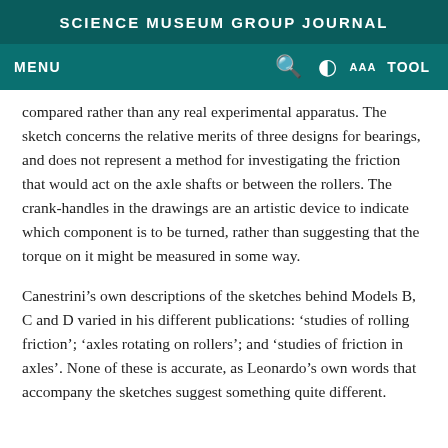SCIENCE MUSEUM GROUP JOURNAL
compared rather than any real experimental apparatus. The sketch concerns the relative merits of three designs for bearings, and does not represent a method for investigating the friction that would act on the axle shafts or between the rollers. The crank-handles in the drawings are an artistic device to indicate which component is to be turned, rather than suggesting that the torque on it might be measured in some way.
Canestrini’s own descriptions of the sketches behind Models B, C and D varied in his different publications: ‘studies of rolling friction’; ‘axles rotating on rollers’; and ‘studies of friction in axles’. None of these is accurate, as Leonardo’s own words that accompany the sketches suggest something quite different.